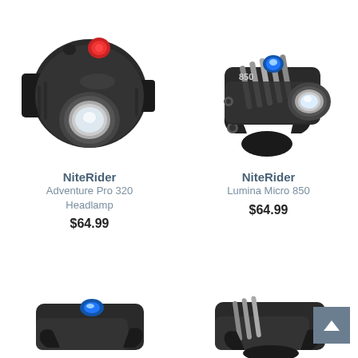[Figure (photo): NiteRider Adventure Pro 320 Headlamp product photo - black wearable headlamp with red button on top]
[Figure (photo): NiteRider Lumina Micro 850 product photo - black bicycle handlebar light with blue LED on top]
NiteRider
Adventure Pro 320 Headlamp
$64.99
NiteRider
Lumina Micro 850
$64.99
[Figure (photo): Partial view of another NiteRider bike light product at bottom left]
[Figure (photo): Partial view of another NiteRider bike light product at bottom right]